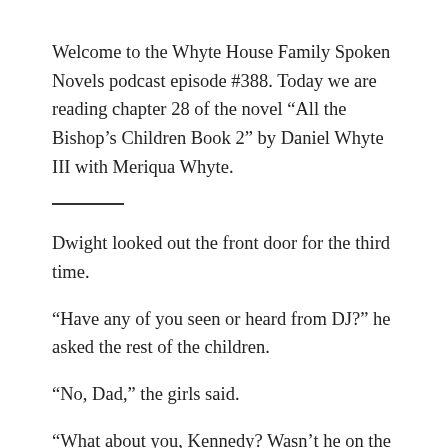Welcome to the Whyte House Family Spoken Novels podcast episode #388. Today we are reading chapter 28 of the novel “All the Bishop’s Children Book 2” by Daniel Whyte III with Meriqua Whyte.
Dwight looked out the front door for the third time.
“Have any of you seen or heard from DJ?” he asked the rest of the children.
“No, Dad,” the girls said.
“What about you, Kennedy? Wasn’t he on the school bus?” Dwight asked. “He went to early practice this morning so he had to have been on the bus coming